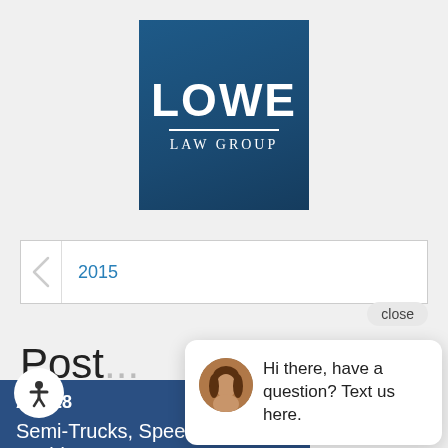[Figure (logo): Lowe Law Group logo: dark blue square background with LOWE in large white bold text, horizontal white divider line, and LAW GROUP in white serif letters below]
2015
Post...
Apr 28
Semi-Trucks, Speeds and Accidents
View Article
close
Hi there, have a question? Text us here.